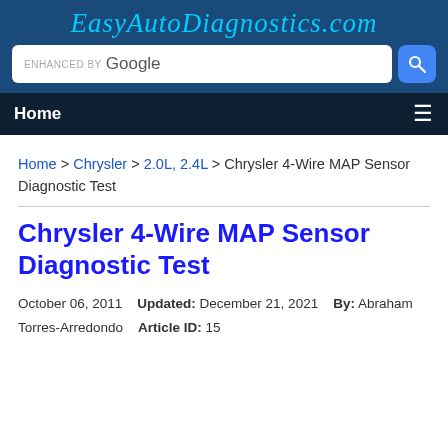EasyAutoDiagnostics.com
ENHANCED BY Google [search bar]
Home ≡
Home > Chrysler > 2.0L, 2.4L > Chrysler 4-Wire MAP Sensor Diagnostic Test
Chrysler 4-Wire MAP Sensor Diagnostic Test
October 06, 2011   Updated: December 21, 2021   By: Abraham Torres-Arredondo   Article ID: 15